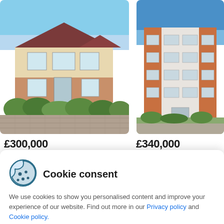[Figure (photo): Photo of a semi-detached house with cream render and brick, white windows, green bushes in the foreground, brick paved driveway, taken from a slight angle.]
[Figure (photo): Photo of a modern brick apartment block, multi-storey, white render panels and red brick, photographed from below against a blue sky, with paved area in front.]
£300,000
£340,000
Cookie consent
We use cookies to show you personalised content and improve your experience of our website. Find out more in our Privacy policy and Cookie policy.
Accept all
Manage options